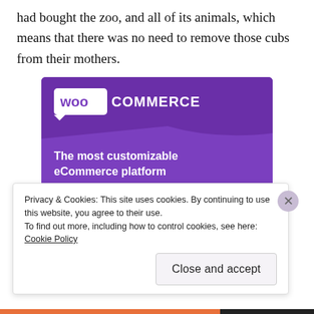had bought the zoo, and all of its animals, which means that there was no need to remove those cubs from their mothers.
[Figure (screenshot): WooCommerce advertisement banner with purple background showing 'WooCommerce' logo, tagline 'The most customizable eCommerce platform', a shopping cart icon, a 'Start a new store' button, and UI mockup elements.]
Privacy & Cookies: This site uses cookies. By continuing to use this website, you agree to their use.
To find out more, including how to control cookies, see here: Cookie Policy
Close and accept